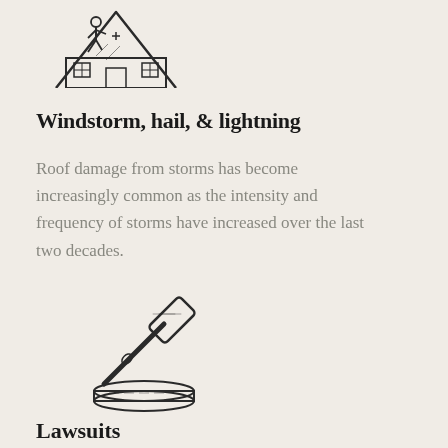[Figure (illustration): Sketch illustration of a house with a person on the roof, suggesting roof inspection or damage]
Windstorm, hail, & lightning
Roof damage from storms has become increasingly common as the intensity and frequency of storms have increased over the last two decades.
[Figure (illustration): Sketch illustration of a judge's gavel/hammer resting on a sound block, representing lawsuits]
Lawsuits